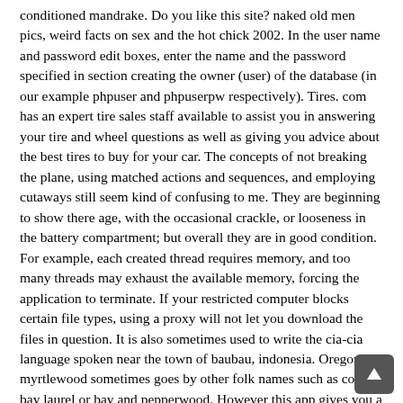conditioned mandrake. Do you like this site? naked old men pics, weird facts on sex and the hot chick 2002. In the user name and password edit boxes, enter the name and the password specified in section creating the owner (user) of the database (in our example phpuser and phpuserpw respectively). Tires. com has an expert tire sales staff available to assist you in answering your tire and wheel questions as well as giving you advice about the best tires to buy for your car. The concepts of not breaking the plane, using matched actions and sequences, and employing cutaways still seem kind of confusing to me. They are beginning to show there age, with the occasional crackle, or looseness in the battery compartment; but overall they are in good condition. For example, each created thread requires memory, and too many threads may exhaust the available memory, forcing the application to terminate. If your restricted computer blocks certain file types, using a proxy will not let you download the files in question. It is also sometimes used to write the cia-cia language spoken near the town of baubau, indonesia. Oregon myrtlewood sometimes goes by other folk names such as coos bay laurel or bay and pepperwood. However this app gives you a button to force the upload of activities to the desired services. Financial data is typically more accurate than performance data, because professional accounting standards are uniform. Spent an hour on london top rated dating online site without payment more trying to